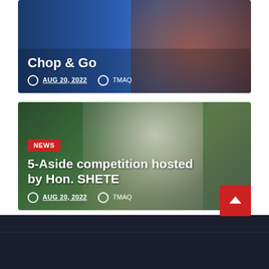[Figure (photo): First article card with blue gradient background showing 'Chop & Go' title, dated AUG 20, 2022, by TMAQ]
Chop & Go
AUG 20, 2022   TMAQ
[Figure (photo): Second article card with dark green/nature background showing a man in white outfit, NEWS badge, '5-Aside competition hosted by Hon. SHETE' title, dated AUG 20, 2022, by TMAQ]
NEWS
5-Aside competition hosted by Hon. SHETE
AUG 20, 2022   TMAQ